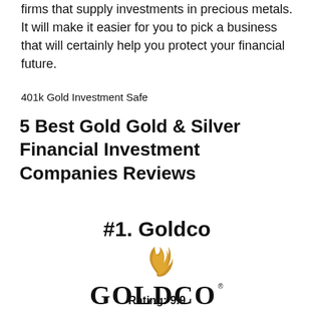firms that supply investments in precious metals. It will make it easier for you to pick a business that will certainly help you protect your financial future.
401k Gold Investment Safe
5 Best Gold Gold & Silver Financial Investment Companies Reviews
#1. Goldco
[Figure (logo): Goldco logo with a golden stylized flame/feather above the word GOLDCO in large serif capitals with a registered trademark symbol]
Rating: 9.9